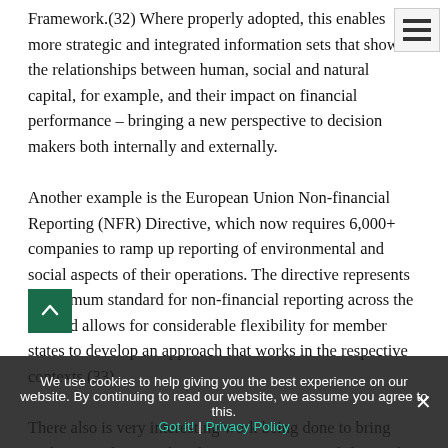Framework.(32) Where properly adopted, this enables more strategic and integrated information sets that show the relationships between human, social and natural capital, for example, and their impact on financial performance – bringing a new perspective to decision makers both internally and externally. Another example is the European Union Non-financial Reporting (NFR) Directive, which now requires 6,000+ companies to ramp up reporting of environmental and social aspects of their operations. The directive represents a minimum standard for non-financial reporting across the EU and allows for considerable flexibility for member states to develop an approach that works in the respective contexts.(33) There also is very interesting work being done to bring such externalities within the reporting responsibilities of business – for example, in relation